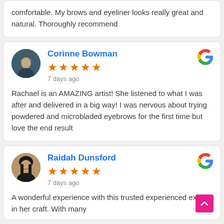comfortable. My brows and eyeliner looks really great and natural. Thoroughly recommend
Corinne Bowman
★★★★★
7 days ago
Rachael is an AMAZING artist! She listened to what I was after and delivered in a big way! I was nervous about trying powdered and microbladed eyebrows for the first time but love the end result
Raidah Dunsford
★★★★★
7 days ago
A wonderful experience with this trusted experienced expert in her craft. With many